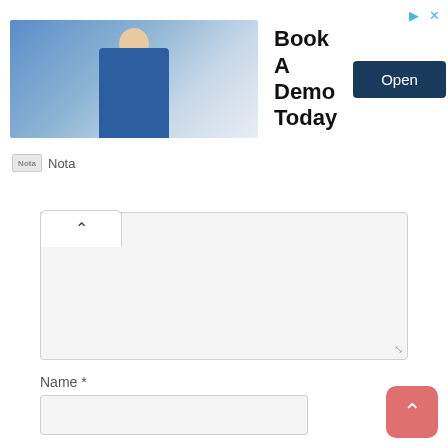[Figure (screenshot): Advertisement banner with photo of a man in business attire at a desk, headline 'Book A Demo Today', and an 'Open' button. Nota branding at bottom.]
Name *
Email *
Website